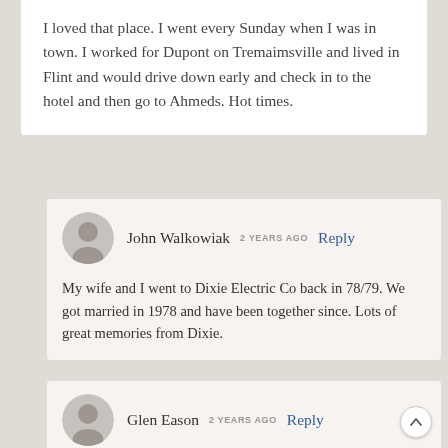I loved that place. I went every Sunday when I was in town. I worked for Dupont on Tremaimsville and lived in Flint and would drive down early and check in to the hotel and then go to Ahmeds. Hot times.
John Walkowiak  2 YEARS AGO  Reply
My wife and I went to Dixie Electric Co back in 78/79. We got married in 1978 and have been together since. Lots of great memories from Dixie.
Glen Eason  2 YEARS AGO  Reply
I miss the 20s, originally on Central Ave, then down town. It was a go-go bar with a great piano bar upstairs in the down town location. Used to go there in